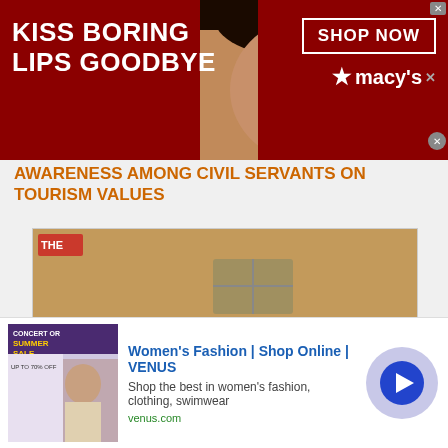[Figure (photo): Macy's advertisement banner: dark red background with woman's face and red lips, text 'KISS BORING LIPS GOODBYE', 'SHOP NOW' button, Macy's logo with star]
AWARENESS AMONG CIVIL SERVANTS ON TOURISM VALUES
[Figure (photo): Three men seated at a table in an indoor setting; man on right wearing red headgear; formal attire]
[Figure (photo): Advertisement for Women's Fashion VENUS online shop with thumbnail image, title, subtitle and venus.com URL, blue arrow button]